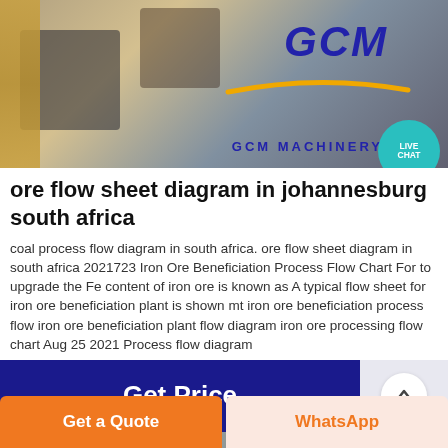[Figure (photo): GCM Machinery product photo showing industrial mining/crushing equipment in a workshop setting with GCM logo and LIVE CHAT bubble overlay]
ore flow sheet diagram in johannesburg south africa
coal process flow diagram in south africa. ore flow sheet diagram in south africa 2021723 Iron Ore Beneficiation Process Flow Chart For to upgrade the Fe content of iron ore is known as A typical flow sheet for iron ore beneficiation plant is shown mt iron ore beneficiation process flow iron ore beneficiation plant flow diagram iron ore processing flow chart Aug 25 2021 Process flow diagram
[Figure (screenshot): Get Price button (dark blue) with up-arrow back-to-top button]
[Figure (photo): Indoor industrial facility photo showing warehouse interior with windows and machinery]
[Figure (screenshot): Footer with Get a Quote (orange) and WhatsApp buttons]